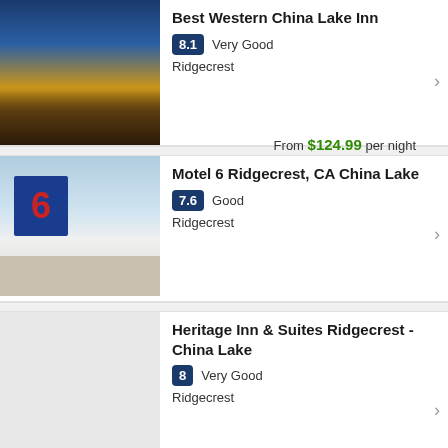[Figure (photo): Hotel exterior photo at night with palm trees and blue lighting - Best Western China Lake Inn]
Best Western China Lake Inn
8.1 Very Good
Ridgecrest
From $124.99 per night
[Figure (photo): Motel 6 sign with red number 6 on blue background, motel building exterior daytime]
Motel 6 Ridgecrest, CA China Lake
7.6 Good
Ridgecrest
[Figure (photo): Heritage Inn & Suites placeholder gray image]
Heritage Inn & Suites Ridgecrest - China Lake
8 Very Good
Ridgecrest
From $107.10 per night
[Figure (photo): Hotel Europa Ridgecrest CA partial image]
Hotel Europa Ridgecrest CA - W